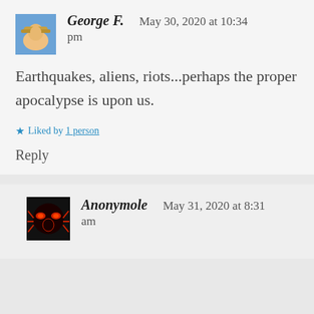George F.    May 30, 2020 at 10:34 pm
Earthquakes, aliens, riots...perhaps the proper apocalypse is upon us.
Liked by 1 person
Reply
Anonymole    May 31, 2020 at 8:31 am